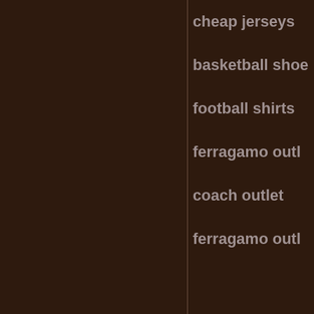cheap jerseys
basketball shoes
football shirts
ferragamo outlet
coach outlet
ferragamo outlet